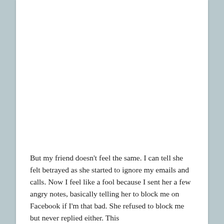But my friend doesn't feel the same. I can tell she felt betrayed as she started to ignore my emails and calls. Now I feel like a fool because I sent her a few angry notes, basically telling her to block me on Facebook if I'm that bad. She refused to block me but never replied either. This